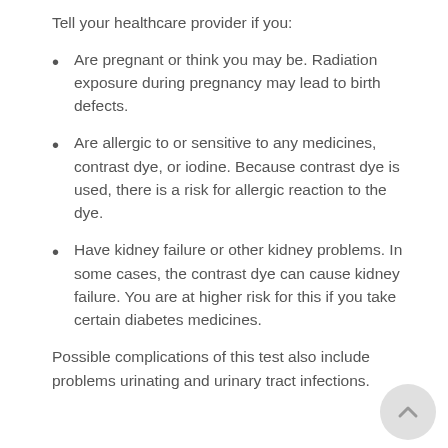Tell your healthcare provider if you:
Are pregnant or think you may be. Radiation exposure during pregnancy may lead to birth defects.
Are allergic to or sensitive to any medicines, contrast dye, or iodine. Because contrast dye is used, there is a risk for allergic reaction to the dye.
Have kidney failure or other kidney problems. In some cases, the contrast dye can cause kidney failure. You are at higher risk for this if you take certain diabetes medicines.
Possible complications of this test also include problems urinating and urinary tract infections.